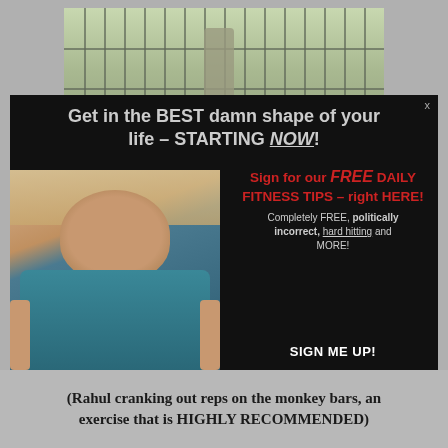[Figure (screenshot): Outdoor scene photo partially visible behind popup, showing a person and fence/trees in background]
[Figure (screenshot): Popup overlay with black background. Left side shows photo of muscular man in teal tank top. Right side has signup form text. Headline: Get in the BEST damn shape of your life – STARTING NOW! Right column: Sign for our FREE DAILY FITNESS TIPS – right HERE! Completely FREE, politically incorrect, hard hitting and MORE! SIGN ME UP! Footer: Powered by popbin. Close X button top right.]
(Rahul cranking out reps on the monkey bars, an exercise that is HIGHLY RECOMMENDED)